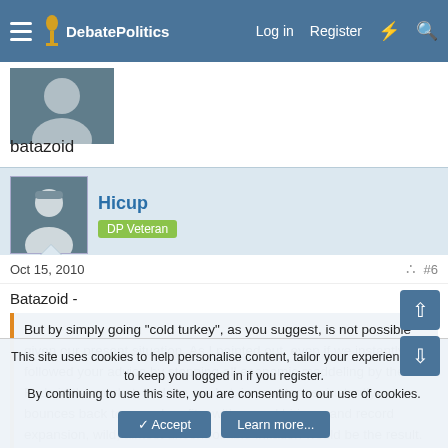DebatePolitics — Log in  Register
batazoid
Hicup
DP Veteran
Oct 15, 2010   #6
Batazoid -
But by simply going "cold turkey", as you suggest, is not possible given our present situation. As I pointed out, even if we instantly followed your advice by stopping all economic meddeling by the Feds in the market, and the market, in your terms, instantly bounces back to record profits, with record hirings, and record expansion, wild, almost uncontrollable inflation would be the result.
This site uses cookies to help personalise content, tailor your experience and to keep you logged in if you register.
By continuing to use this site, you are consenting to our use of cookies.